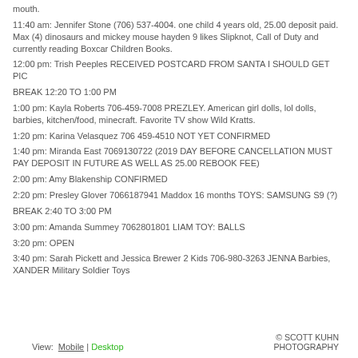mouth.
11:40 am: Jennifer Stone (706) 537-4004.  one child 4 years old, 25.00 deposit paid.  Max (4) dinosaurs and mickey mouse  hayden 9 likes Slipknot, Call of Duty and currently reading Boxcar Children Books.
12:00 pm: Trish Peeples RECEIVED POSTCARD FROM SANTA I SHOULD GET PIC
BREAK 12:20 TO 1:00 PM
1:00 pm:  Kayla Roberts  706-459-7008  PREZLEY.  American girl dolls, lol dolls, barbies, kitchen/food, minecraft.  Favorite TV show Wild Kratts.
1:20 pm:  Karina Velasquez 706 459-4510   NOT YET CONFIRMED
1:40 pm: Miranda East 7069130722  (2019 DAY BEFORE CANCELLATION MUST PAY DEPOSIT IN FUTURE AS WELL AS 25.00 REBOOK FEE)
2:00 pm: Amy Blakenship CONFIRMED
2:20 pm: Presley Glover 7066187941  Maddox 16 months   TOYS: SAMSUNG S9 (?)
BREAK 2:40 TO 3:00 PM
3:00 pm:  Amanda Summey 7062801801  LIAM  TOY: BALLS
3:20 pm:  OPEN
3:40 pm:  Sarah Pickett and Jessica Brewer  2 Kids  706-980-3263  JENNA Barbies, XANDER Military Soldier Toys
View: Mobile | Desktop   © SCOTT KUHN PHOTOGRAPHY